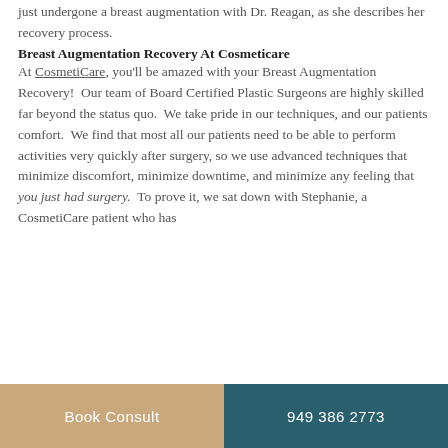just undergone a breast augmentation with Dr. Reagan, as she describes her recovery process.
Breast Augmentation Recovery At Cosmeticare
At CosmetiCare, you'll be amazed with your Breast Augmentation Recovery!  Our team of Board Certified Plastic Surgeons are highly skilled far beyond the status quo.  We take pride in our techniques, and our patients comfort.  We find that most all our patients need to be able to perform activities very quickly after surgery, so we use advanced techniques that minimize discomfort, minimize downtime, and minimize any feeling that you just had surgery.  To prove it, we sat down with Stephanie, a CosmetiCare patient who has
Book Consult | 949 386 2773